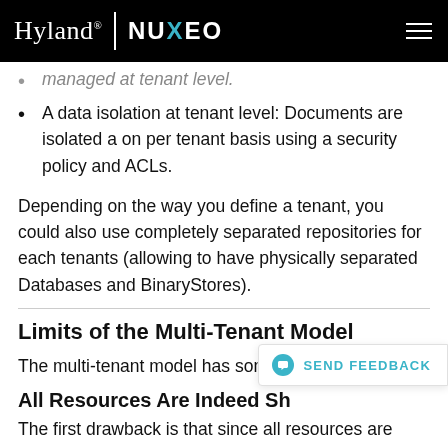Hyland | NUXEO
managed at tenant level.
A data isolation at tenant level: Documents are isolated a on per tenant basis using a security policy and ACLs.
Depending on the way you define a tenant, you could also use completely separated repositories for each tenants (allowing to have physically separated Databases and BinaryStores).
Limits of the Multi-Tenant Model
The multi-tenant model has some intrinsic limits.
All Resources Are Indeed Sh…
The first drawback is that since all resources are shared